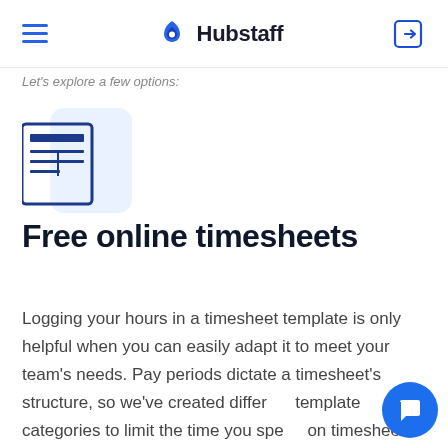Hubstaff
Let's explore a few options:
[Figure (illustration): Document/timesheet icon with lines representing rows of data, on a light blue rounded square background]
Free online timesheets
Logging your hours in a timesheet template is only helpful when you can easily adapt it to meet your team's needs. Pay periods dictate a timesheet's structure, so we've created different template categories to limit the time you spend on timesheet formatting.